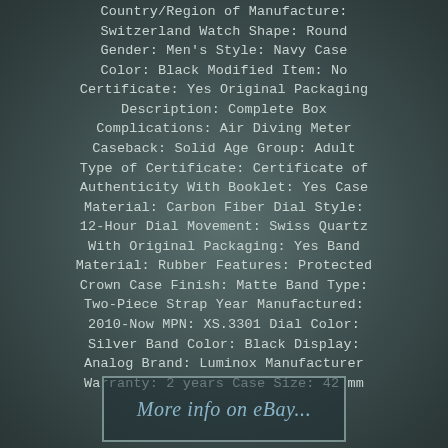Country/Region of Manufacture: Switzerland Watch Shape: Round Gender: Men's Style: Navy Case Color: Black Modified Item: No Certificate: Yes Original Packaging Description: Complete Box Complications: Air Diving Meter Caseback: Solid Age Group: Adult Type of Certificate: Certificate of Authenticity With Booklet: Yes Case Material: Carbon Fiber Dial Style: 12-Hour Dial Movement: Swiss Quartz With Original Packaging: Yes Band Material: Rubber Features: Protected Crown Case Finish: Matte Band Type: Two-Piece Strap Year Manufactured: 2010-Now MPN: XS.3301 Dial Color: Silver Band Color: Black Display: Analog Brand: Luminox Manufacturer Warranty: 2 years Case Size: 42 mm
[Figure (other): Banner linking to eBay listing with text 'More info on eBay...']